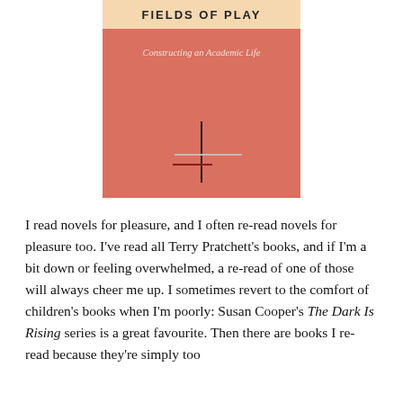[Figure (illustration): Book cover of 'Fields of Play: Constructing an Academic Life' with a salmon/pink-orange background, title text at top, subtitle 'Constructing an Academic Life', and a cross/plus symbol made of intersecting lines (dark vertical, light gray horizontal, dark red/maroon shorter horizontal) in the lower center.]
I read novels for pleasure, and I often re-read novels for pleasure too. I've read all Terry Pratchett's books, and if I'm a bit down or feeling overwhelmed, a re-read of one of those will always cheer me up. I sometimes revert to the comfort of children's books when I'm poorly: Susan Cooper's The Dark Is Rising series is a great favourite. Then there are books I re-read because they're simply too